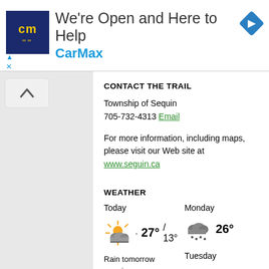[Figure (screenshot): CarMax advertisement banner: logo, headline 'We're Open and Here to Help', brand name 'CarMax', blue diamond arrow icon, and ad controls (triangle and X icons)]
CONTACT THE TRAIL
Township of Sequin
705-732-4313 Email
For more information, including maps, please visit our Web site at www.seguin.ca
WEATHER
Today
27° / 13°
Monday
26°
Rain tomorrow morning and afternoon.
Tuesday
23°